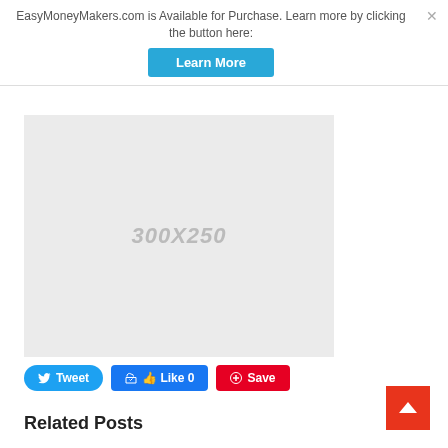EasyMoneyMakers.com is Available for Purchase. Learn more by clicking the button here:
[Figure (screenshot): Learn More button - blue rectangular button with white text]
[Figure (screenshot): Advertisement placeholder showing 300X250 dimensions in gray box]
[Figure (screenshot): Social sharing buttons: Tweet (blue), Like 0 (blue), Save (red)]
[Figure (screenshot): Back to top button - red square with white up arrow]
Related Posts